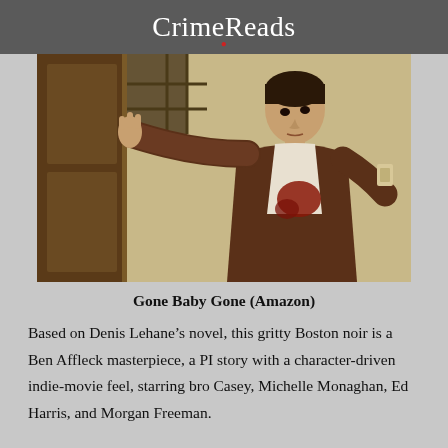CrimeReads
[Figure (photo): Movie still from Gone Baby Gone showing a young man in a brown jacket leaning against a doorframe with a bloodstained white shirt]
Gone Baby Gone (Amazon)
Based on Denis Lehane’s novel, this gritty Boston noir is a Ben Affleck masterpiece, a PI story with a character-driven indie-movie feel, starring bro Casey, Michelle Monaghan, Ed Harris, and Morgan Freeman.